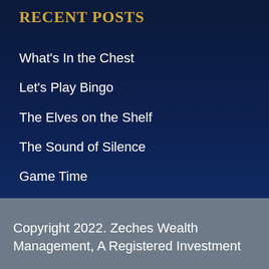Recent Posts
What's In the Chest
Let's Play Bingo
The Elves on the Shelf
The Sound of Silence
Game Time
Copyright 2022. Zeches Wealth Management, A Registered Investment